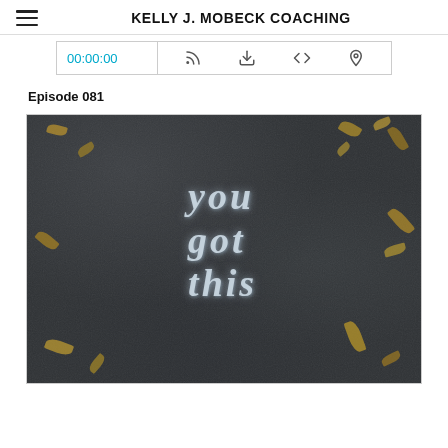KELLY J. MOBECK COACHING
00:00:00
Episode 081
[Figure (photo): Photo of asphalt/dark pavement with chalk writing that reads 'You Got This' in large letters, surrounded by scattered dried leaves on the dark surface.]